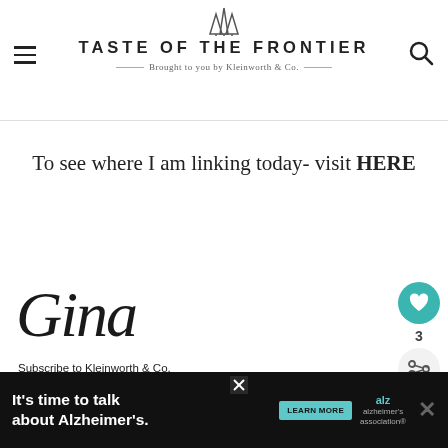TASTE OF THE FRONTIER — Brought to you by Kleinworth & Co.
To see where I am linking today- visit HERE
[Figure (illustration): Cursive signature reading 'Gina']
Subscribe to Kleinworth & Co.
email address
Subscribe
[Figure (infographic): Heart icon button (teal) with count 3 and share icon below]
[Figure (infographic): WHAT'S NEXT arrow — Christmas Gift Tag Printabl... with thumbnail]
[Figure (infographic): Ad banner: It's time to talk about Alzheimer's. LEARN MORE — Alzheimer's Association logo]